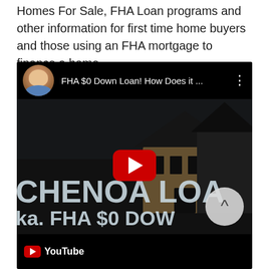Homes For Sale, FHA Loan programs and other information for first time home buyers and those using an FHA mortgage to finance a home.
[Figure (screenshot): Embedded YouTube video thumbnail showing 'FHA $0 Down Loan! How Does it ...' with a presenter avatar, YouTube play button overlay, house model image in background, and 'CHENOA LOAN a.k.a. FHA $0 DOWN' text. A circular scroll-up button overlays the bottom-right corner.]